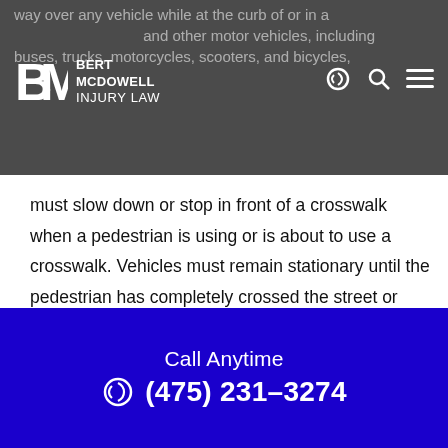way over any vehicle while at the curb or in a and other motor vehicles, including buses, trucks, motorcycles, scooters, and bicycles,
[Figure (logo): Bert McDowell Injury Law logo with BM monogram]
must slow down or stop in front of a crosswalk when a pedestrian is using or is about to use a crosswalk. Vehicles must remain stationary until the pedestrian has completely crossed the street or has reached a “zone of safety.” However, the “zone of safety” isn’t defined in the statute.
Connecticut drivers must yield to pedestrians when they:
Call Anytime (475) 231-3274